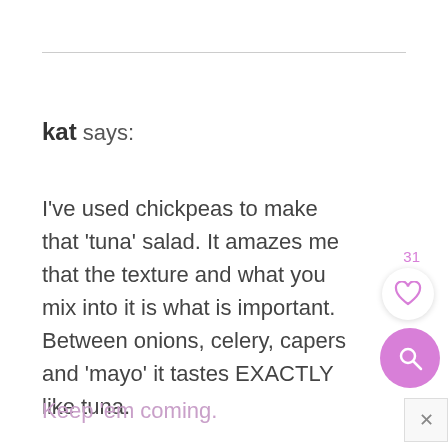kat says:
I've used chickpeas to make that 'tuna' salad. It amazes me that the texture and what you mix into it is what is important. Between onions, celery, capers and 'mayo' it tastes EXACTLY like tuna.
Keep 'em coming.